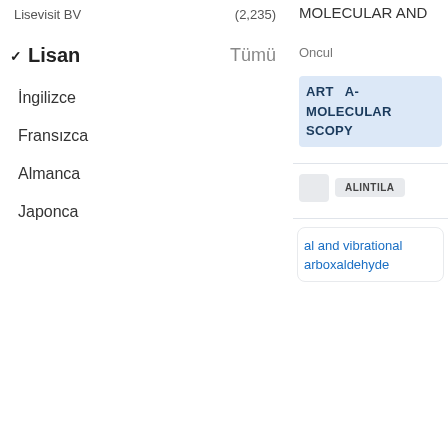Lisevisit BV     (2,235)
✓ Lisan     Tümü
İngilizce
Fransızca
Almanca
Japonca
MOLECULAR AND
Oncul
ART  A-MOLECULAR SCOPY
ALINTILA
al and vibrational arboxaldehyde